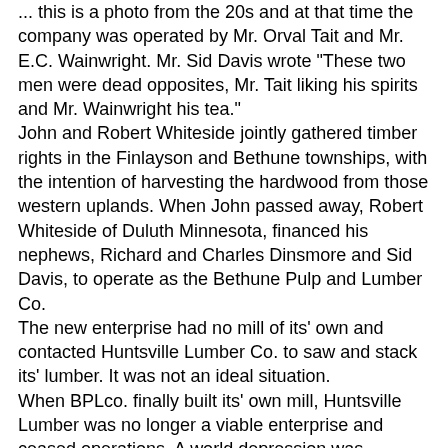... this is a photo from the 20s and at that time the company was operated by Mr. Orval Tait and Mr. E.C. Wainwright. Mr. Sid Davis wrote "These two men were dead opposites, Mr. Tait liking his spirits and Mr. Wainwright his tea."
John and Robert Whiteside jointly gathered timber rights in the Finlayson and Bethune townships, with the intention of harvesting the hardwood from those western uplands. When John passed away, Robert Whiteside of Duluth Minnesota, financed his nephews, Richard and Charles Dinsmore and Sid Davis, to operate as the Bethune Pulp and Lumber Co.
The new enterprise had no mill of its' own and contacted Huntsville Lumber Co. to saw and stack its' lumber. It was not an ideal situation.
When BPLco. finally built its' own mill, Huntsville Lumber was no longer a viable enterprise and ceased operations. A world depression was looming and when Robert Beatty Whiteside passed away, BPLco lost its' financing. It wouldn't survive the Depression.